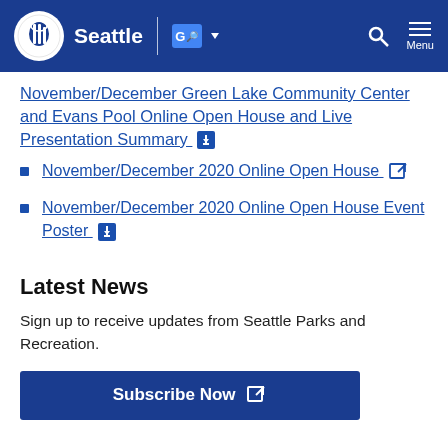Seattle — Government navigation header with logo, translate button, search and menu
November/December Green Lake Community Center and Evans Pool Online Open House and Live Presentation Summary
November/December 2020 Online Open House
November/December 2020 Online Open House Event Poster
Latest News
Sign up to receive updates from Seattle Parks and Recreation.
Subscribe Now